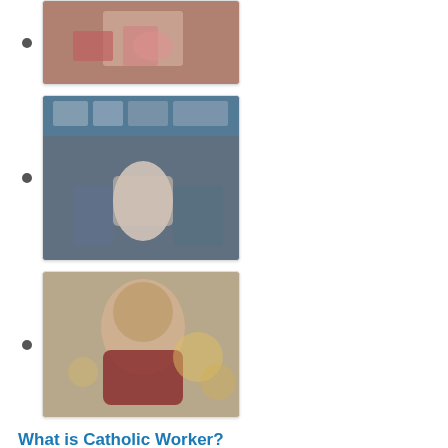[image: hands playing cards]
[image: person at market stall]
[image: man with glasses smiling]
What is Catholic Worker?
The Catholic Worker movement was founded by Dorothy Day and Peter Maurin in 1933 among the poor of New York City. The movement is grounded in a firm belief in the God-given dignity of every person.
Today, 213 Catholic Worker communities remain committed to nonviolence, voluntary poverty, prayer, and hospitality for the homeless, exiled, hungry, and forsaken. Catholic